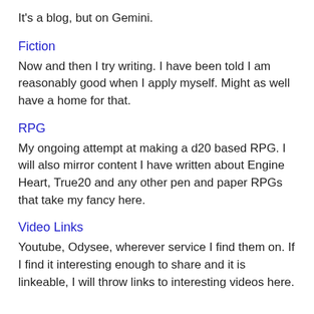It's a blog, but on Gemini.
Fiction
Now and then I try writing. I have been told I am reasonably good when I apply myself. Might as well have a home for that.
RPG
My ongoing attempt at making a d20 based RPG. I will also mirror content I have written about Engine Heart, True20 and any other pen and paper RPGs that take my fancy here.
Video Links
Youtube, Odysee, wherever service I find them on. If I find it interesting enough to share and it is linkeable, I will throw links to interesting videos here.